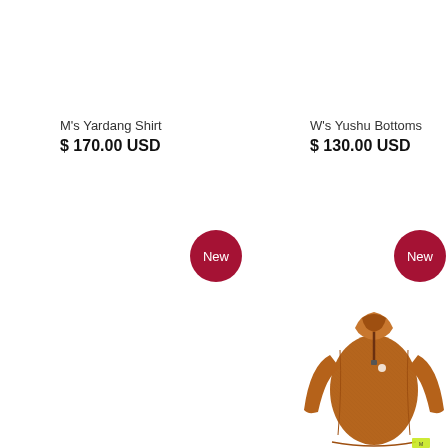M's Yardang Shirt
$ 170.00 USD
W's Yushu Bottoms
$ 130.00 USD
[Figure (illustration): Red circular badge with white text 'New' (left product)]
[Figure (illustration): Red circular badge with white text 'New' (right product)]
[Figure (photo): Orange women's long-sleeve merino wool half-zip base layer top (W's Yushu Bottoms product image)]